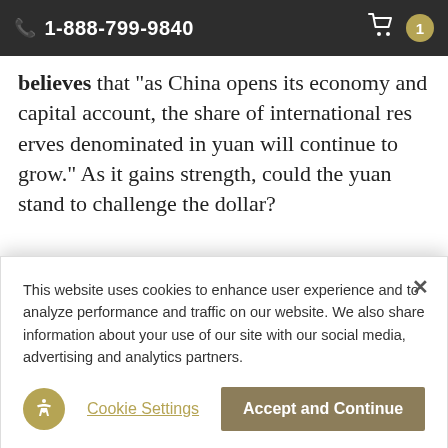1-888-799-9840
believes that "as China opens its economy and capital account, the share of international reserves denominated in yuan will continue to grow." As it gains strength, could the yuan stand to challenge the dollar?
[Figure (photo): Photo of gold/precious metals documents or certificates]
“Holding cash will not make
This website uses cookies to enhance user experience and to analyze performance and traffic on our website. We also share information about your use of our site with our social media, advertising and analytics partners.
Cookie Settings
Accept and Continue